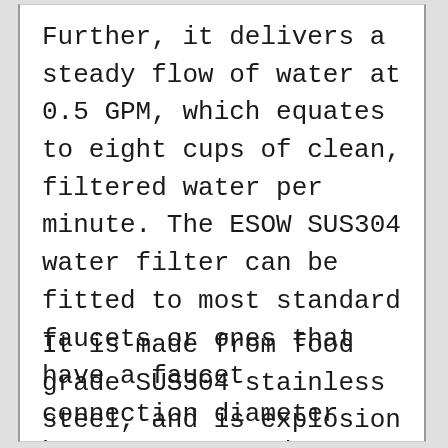Further, it delivers a steady flow of water at 0.5 GPM, which equates to eight cups of clean, filtered water per minute. The ESOW SUS304 water filter can be fitted to most standard faucets or ones that have a faucet connection diameter between 0.55 and 0.94 inches, and more than 0.78 inches in length.
It is made from food grade SUS304 stainless steel, and is explosion proof, lead-free, and resistant to